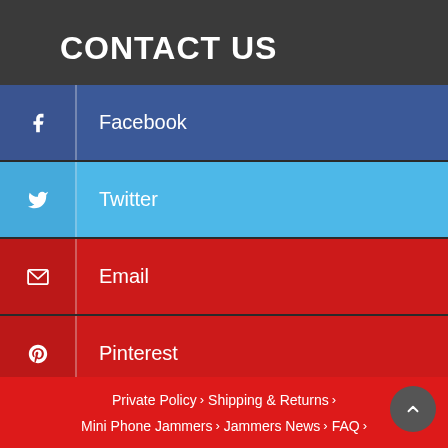CONTACT US
Facebook
Twitter
Email
Pinterest
Youtube
Private Policy > Shipping & Returns > Mini Phone Jammers > Jammers News > FAQ >